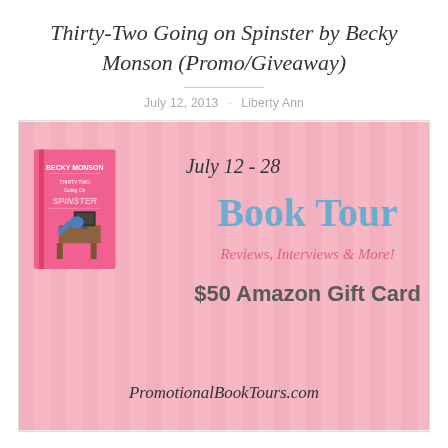Thirty-Two Going on Spinster by Becky Monson (Promo/Giveaway)
July 12, 2013 · Liberty Ann
[Figure (illustration): Book tour promotional banner for 'Thirty-Two Going on Spinster' by Becky Monson. Pink striped background with book cover on left showing a cartoon figure slumped at a desk. Text reads: July 12 - 28, Book Tour, Reviews, Interviews & More!, $50 Amazon Gift Card, PromotionalBookTours.com]
Thirty-Two Going On